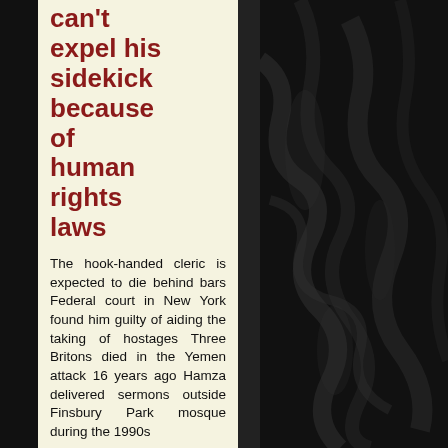can't expel his sidekick because of human rights laws
The hook-handed cleric is expected to die behind bars Federal court in New York found him guilty of aiding the taking of hostages Three Britons died in the Yemen attack 16 years ago Hamza delivered sermons outside Finsbury Park mosque during the 1990s
[Figure (photo): Dark fabric or textile background, dark grey/black rippled material texture on the right side of the page]